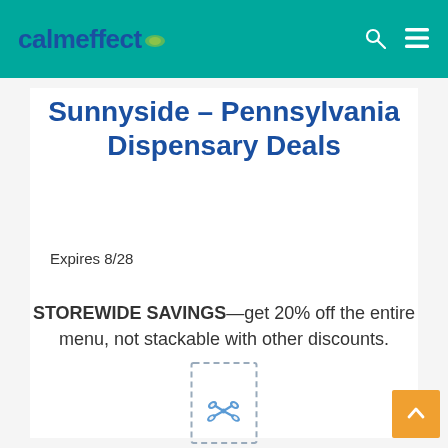calmeffect
Sunnyside – Pennsylvania Dispensary Deals
Expires 8/28
STOREWIDE SAVINGS—get 20% off the entire menu, not stackable with other discounts.
[Figure (illustration): Dashed-border coupon clip icon with scissors symbol]